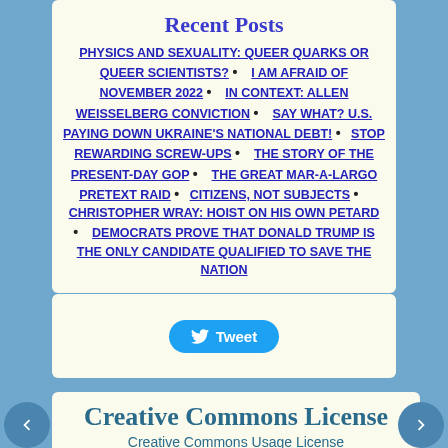Recent Posts
PHYSICS AND SEXUALITY: QUEER QUARKS OR QUEER SCIENTISTS? • I AM AFRAID OF NOVEMBER 2022 • IN CONTEXT: ALLEN WEISSELBERG CONVICTION • SAY WHAT? U.S. PAYING DOWN UKRAINE'S NATIONAL DEBT! • STOP REWARDING SCREW-UPS • THE STORY OF THE PRESENT-DAY GOP • THE GREAT MAR-A-LARGO PRETEXT RAID • CITIZENS, NOT SUBJECTS • CHRISTOPHER WRAY: HOIST ON HIS OWN PETARD • DEMOCRATS PROVE THAT DONALD TRUMP IS THE ONLY CANDIDATE QUALIFIED TO SAVE THE NATION
[Figure (other): Twitter Tweet button with bird logo]
Creative Commons License
Creative Commons Usage License